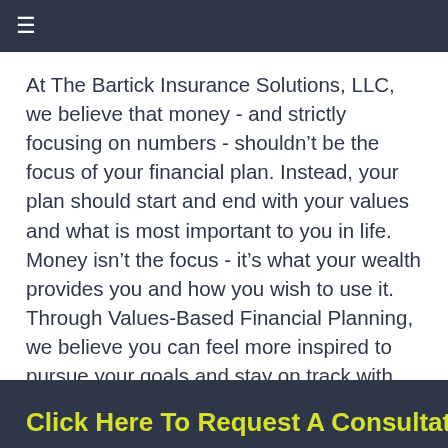≡
At The Bartick Insurance Solutions, LLC, we believe that money - and strictly focusing on numbers - shouldn't be the focus of your financial plan. Instead, your plan should start and end with your values and what is most important to you in life. Money isn't the focus - it's what your wealth provides you and how you wish to use it. Through Values-Based Financial Planning, we believe you can feel more inspired to pursue your goals and stay on track with your financial roadmap.
Click Here To Request A Consultation